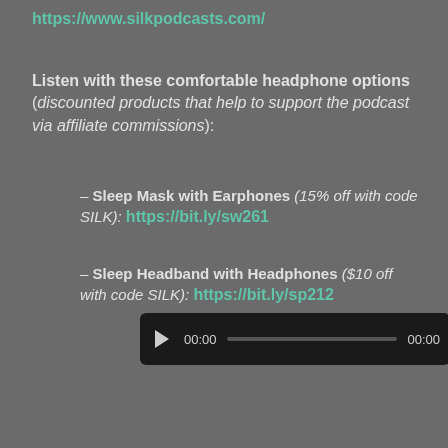https://www.silkpodcasts.com/
Listen with these comfortable headphone options (discounted products that help to support the podcast via affiliate commissions):
– Sleep Mask with Earphones (15% off with code SILK): https://bit.ly/sw261
– Sleep Headband with Headphones ($10 off with code SILK): https://bit.ly/sp212
[Figure (screenshot): Audio player with play button, time display 00:00, progress bar, and end time 00:00]